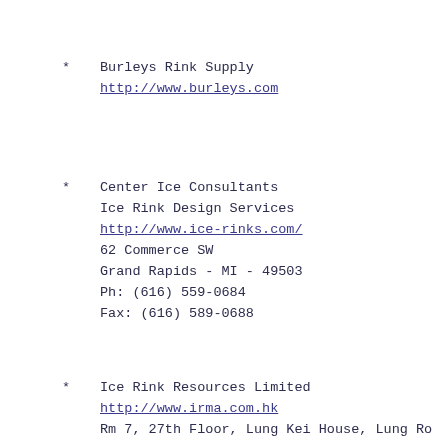* Burleys Rink Supply
http://www.burleys.com
* Center Ice Consultants
Ice Rink Design Services
http://www.ice-rinks.com/
62 Commerce SW
Grand Rapids - MI - 49503
Ph: (616) 559-0684
Fax: (616) 589-0688
* Ice Rink Resources Limited
http://www.irma.com.hk
Rm 7, 27th Floor, Lung Kei House, Lung Ro...